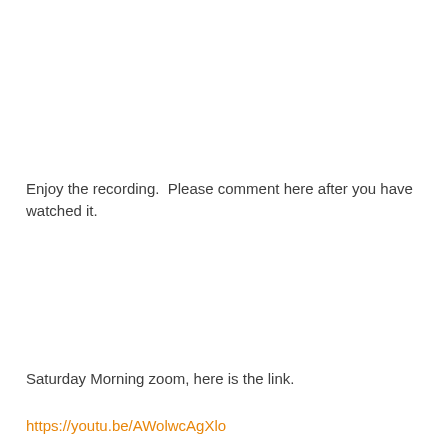Enjoy the recording.  Please comment here after you have watched it.
Saturday Morning zoom, here is the link.
https://youtu.be/AWolwcAgXlo